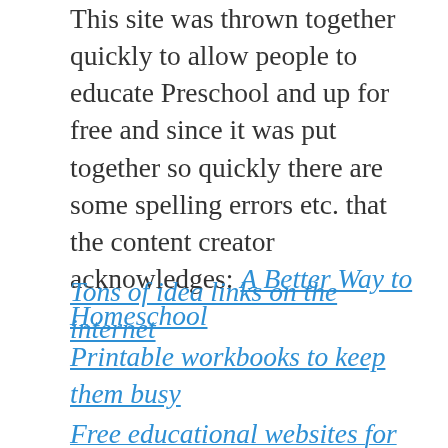This site was thrown together quickly to allow people to educate Preschool and up for free and since it was put together so quickly there are some spelling errors etc. that the content creator acknowledges: A Better Way to Homeschool
Tons of idea links on the internet
Printable workbooks to keep them busy
Free educational websites for kids
Share this:
Tweet